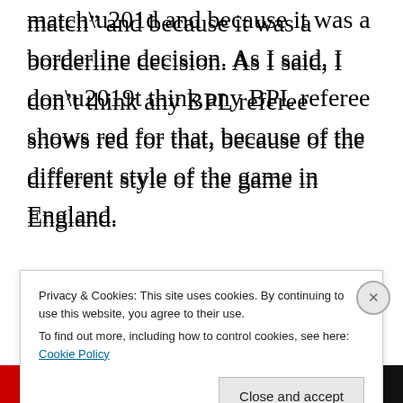match” and because it was a borderline decision. As I said, I don’t think any BPL referee shows red for that, because of the different style of the game in England.
Chris, thanks for the kind words and for your contributions to the discussion.
Privacy & Cookies: This site uses cookies. By continuing to use this website, you agree to their use. To find out more, including how to control cookies, see here: Cookie Policy